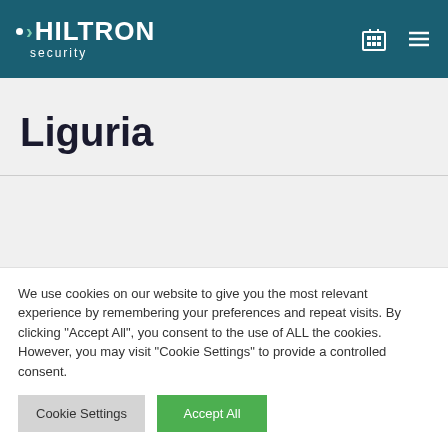Hiltron Security
Liguria
We use cookies on our website to give you the most relevant experience by remembering your preferences and repeat visits. By clicking "Accept All", you consent to the use of ALL the cookies. However, you may visit "Cookie Settings" to provide a controlled consent.